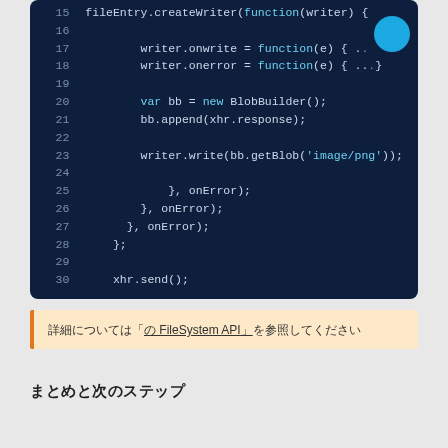[Figure (screenshot): Dark blue code editor screenshot showing JavaScript code lines 15-30 with syntax highlighting. Line 17: writer.onwrite = function(e) { ...; Line 18: writer.onerror = function(e) { ...; Line 20: var bb = new BlobBuilder(); Line 21: bb.append(xhr.response); Line 23: writer.write(bb.getBlob('image/png')); Line 25: }, onError); Line 26: }, onError); Line 27: }, onError); Line 28: }; Line 30: xhr.send();]
詳細については「の FileSystem API」を参照してください
まとめと次のステップ